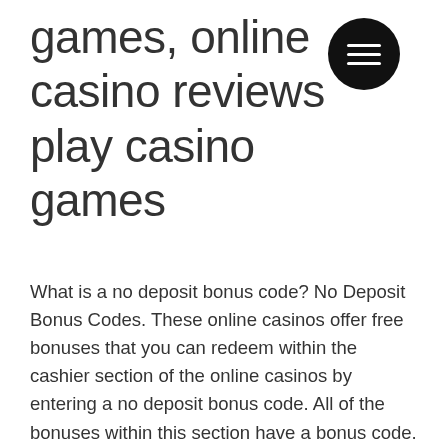games, online casino reviews play casino games
What is a no deposit bonus code? No Deposit Bonus Codes. These online casinos offer free bonuses that you can redeem within the cashier section of the online casinos by entering a no deposit bonus code. All of the bonuses within this section have a bonus code. Copy down the bonus code, redeem it within the casino, and then you will instantly receive a free bonus, blackjack ballroom casino 500 gratis. Crazy Luck $75 No Deposit Bonus, blackjack ballroom casino 500 gratis. Most of these casinos offer sign on bonuses to entice new players, online casino schweiz book of ra. That unlike regular casinos, social casino apps are not strictly regulated. Social casino